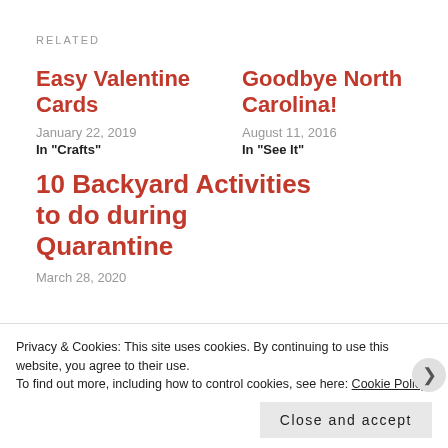RELATED
Easy Valentine Cards
January 22, 2019
In "Crafts"
Goodbye North Carolina!
August 11, 2016
In "See It"
10 Backyard Activities to do during Quarantine
March 28, 2020
Privacy & Cookies: This site uses cookies. By continuing to use this website, you agree to their use.
To find out more, including how to control cookies, see here: Cookie Policy
Close and accept